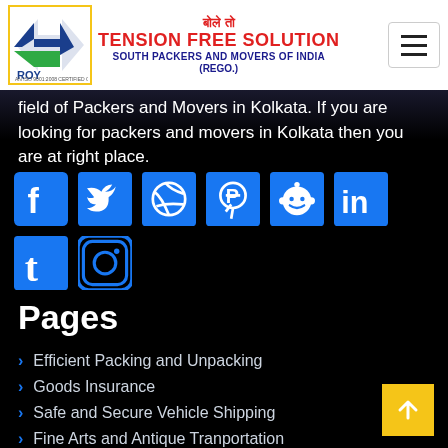ROY GROUP - TENSION FREE SOLUTION SOUTH PACKERS AND MOVERS OF INDIA (REGO.)
field of Packers and Movers in Kolkata. If you are looking for packers and movers in Kolkata then you are at right place.
[Figure (other): Social media icons row: Facebook, Twitter, Dribbble, Pinterest, Reddit, LinkedIn, Tumblr, Instagram — all in blue]
Pages
Efficient Packing and Unpacking
Goods Insurance
Safe and Secure Vehicle Shipping
Fine Arts and Antique Tranportation